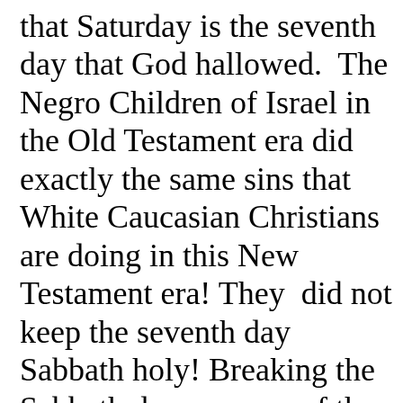that Saturday is the seventh day that God hallowed.  The Negro Children of Israel in the Old Testament era did exactly the same sins that White Caucasian Christians are doing in this New Testament era! They  did not keep the seventh day Sabbath holy! Breaking the Sabbath day was one of the main sins of the Negro Children of Israel in the Old Testament era that caused